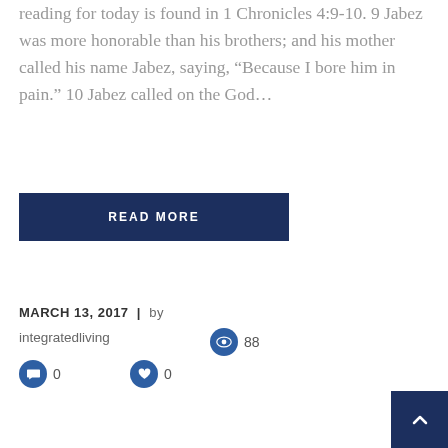reading for today is found in 1 Chronicles 4:9-10. 9 Jabez was more honorable than his brothers; and his mother called his name Jabez, saying, “Because I bore him in pain.” 10 Jabez called on the God…
READ MORE
MARCH 13, 2017 | by integratedliving   88   0   0